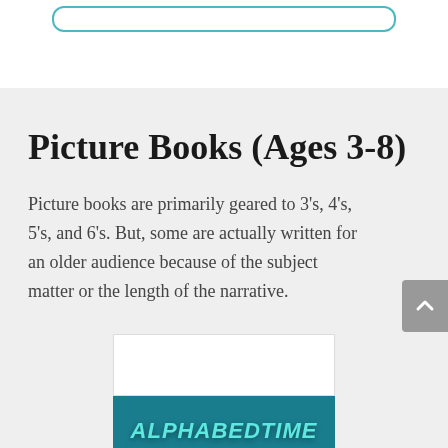Picture Books (Ages 3-8)
Picture books are primarily geared to 3’s, 4’s, 5’s, and 6’s. But, some are actually written for an older audience because of the subject matter or the length of the narrative.
[Figure (photo): Book cover image for Alphabedtime, shown partially at bottom of page with teal/dark green background and stylized text in aqua color.]